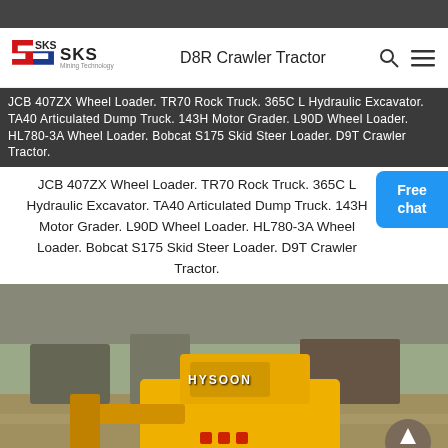[Figure (screenshot): Dark top image strip from website]
D8R Crawler Tractor
JCB 407ZX Wheel Loader. TR70 Rock Truck. 365C L Hydraulic Excavator. TA40 Articulated Dump Truck. 143H Motor Grader. L90D Wheel Loader. HL780-3A Wheel Loader. Bobcat S175 Skid Steer Loader. D9T Crawler Tractor.
[Figure (photo): Photo of a yellow HYSOON mini crawler loader/skid steer in a factory warehouse setting, with various heavy equipment in the background. A circular scroll-up button is visible in the lower right.]
Get a Quote
WhatsApp